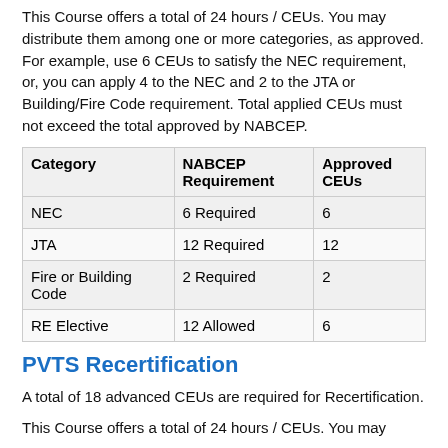This Course offers a total of 24 hours / CEUs. You may distribute them among one or more categories, as approved. For example, use 6 CEUs to satisfy the NEC requirement, or, you can apply 4 to the NEC and 2 to the JTA or Building/Fire Code requirement. Total applied CEUs must not exceed the total approved by NABCEP.
| Category | NABCEP Requirement | Approved CEUs |
| --- | --- | --- |
| NEC | 6 Required | 6 |
| JTA | 12 Required | 12 |
| Fire or Building Code | 2 Required | 2 |
| RE Elective | 12 Allowed | 6 |
PVTS Recertification
A total of 18 advanced CEUs are required for Recertification.
This Course offers a total of 24 hours / CEUs. You may